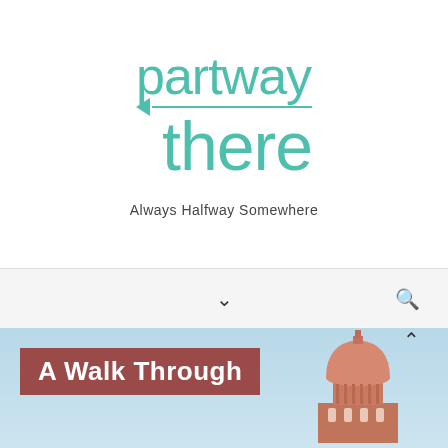[Figure (logo): Partway There blog logo with teal/mint colored text 'partway' and 'there' with a left-pointing arrow between them]
Always Halfway Somewhere
[Figure (screenshot): Navigation bar with a chevron/dropdown arrow in the center and a search icon on the right, on a light gray background]
[Figure (photo): Article preview image showing a capitol building dome against a blue sky, with a dark red/maroon banner overlay reading 'A Walk Through']